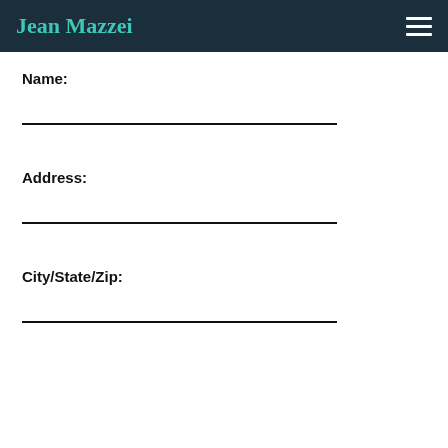Jean Mazzei
Name:
Address:
City/State/Zip: